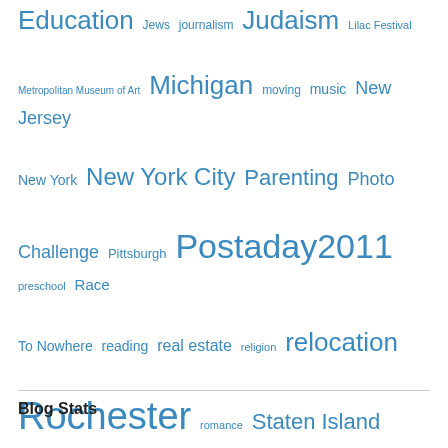[Figure (infographic): Tag cloud with various blog tags in different sizes, all in blue. Tags include Education, Jews, journalism, Judaism, Lilac Festival, Metropolitan Museum of Art, Michigan, moving, music, New Jersey, New York, New York City, Parenting, Photo Challenge, Pittsburgh, Postaday2011, preschool, Race To Nowhere, reading, real estate, religion, relocation, Rochester, romance, Staten Island, Summer, sustainability, technology, teen, thanksgiving, Tisha B'Av, tomatoes, Torah, Totenville HS, travel, United States, University of Michigan, University of Pittsburgh, vegetable gardening, Weekly Photo Challenge, Wegmans, Winter]
Blog Stats